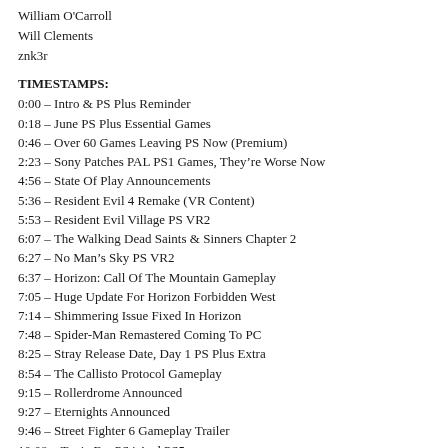William O'Carroll
Will Clements
znk3r
TIMESTAMPS:
0:00 – Intro & PS Plus Reminder
0:18 – June PS Plus Essential Games
0:46 – Over 60 Games Leaving PS Now (Premium)
2:23 – Sony Patches PAL PS1 Games, They're Worse Now
4:56 – State Of Play Announcements
5:36 – Resident Evil 4 Remake (VR Content)
5:53 – Resident Evil Village PS VR2
6:07 – The Walking Dead Saints & Sinners Chapter 2
6:27 – No Man's Sky PS VR2
6:37 – Horizon: Call Of The Mountain Gameplay
7:05 – Huge Update For Horizon Forbidden West
7:14 – Shimmering Issue Fixed In Horizon
7:48 – Spider-Man Remastered Coming To PC
8:25 – Stray Release Date, Day 1 PS Plus Extra
8:54 – The Callisto Protocol Gameplay
9:15 – Rollerdrome Announced
9:27 – Eternights Announced
9:46 – Street Fighter 6 Gameplay Trailer
10:08 – Tunic For PS4 And PS5
10:17 – Season: A Letter To The Future Trailer
10:28 – Final Fantasy XVI New Trailer